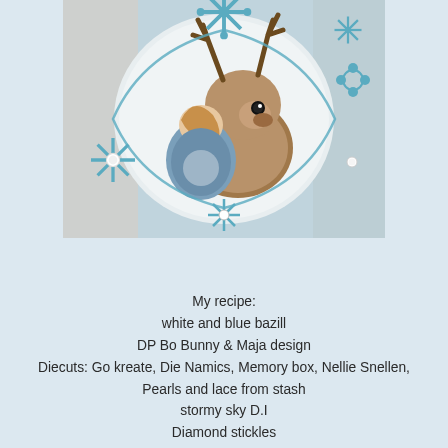[Figure (photo): A crafting card/scrapbook page featuring a hand-drawn girl hugging a reindeer, surrounded by blue die-cut snowflakes and flowers, with patterned paper background and glitter embellishments.]
My recipe:
white and blue bazill
DP Bo Bunny & Maja design
Diecuts: Go kreate, Die Namics, Memory box, Nellie Snellen,
Pearls and lace from stash
stormy sky D.I
Diamond stickles